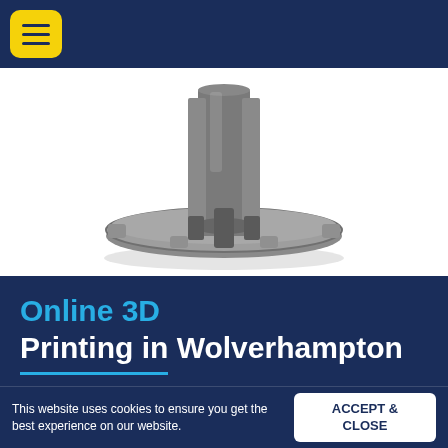[Figure (other): Navigation bar with yellow hamburger menu button on dark navy background]
[Figure (photo): 3D printed grey plastic mechanical part (circular base/flange component) photographed on white background]
Online 3D Printing in Wolverhampton
Supplying Wolverhampton with an
This website uses cookies to ensure you get the best experience on our website.
ACCEPT & CLOSE